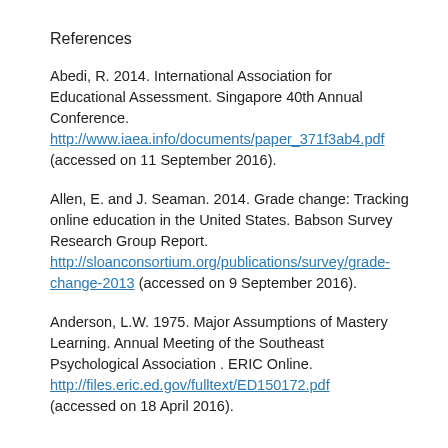References
Abedi, R. 2014. International Association for Educational Assessment. Singapore 40th Annual Conference. http://www.iaea.info/documents/paper_371f3ab4.pdf (accessed on 11 September 2016).
Allen, E. and J. Seaman. 2014. Grade change: Tracking online education in the United States. Babson Survey Research Group Report. http://sloanconsortium.org/publications/survey/grade-change-2013 (accessed on 9 September 2016).
Anderson, L.W. 1975. Major Assumptions of Mastery Learning. Annual Meeting of the Southeast Psychological Association . ERIC Online. http://files.eric.ed.gov/fulltext/ED150172.pdf (accessed on 18 April 2016).